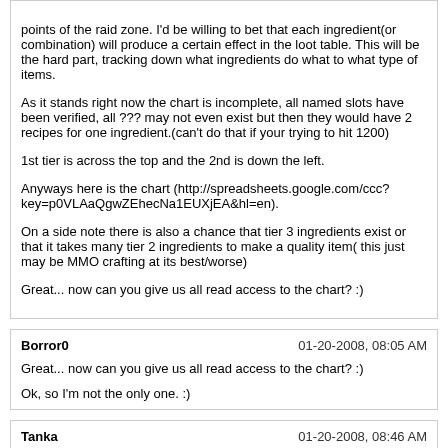points of the raid zone. I'd be willing to bet that each ingredient(or combination) will produce a certain effect in the loot table. This will be the hard part, tracking down what ingredients do what to what type of items.

As it stands right now the chart is incomplete, all named slots have been verified, all ??? may not even exist but then they would have 2 recipes for one ingredient.(can't do that if your trying to hit 1200)

1st tier is across the top and the 2nd is down the left.

Anyways here is the chart (http://spreadsheets.google.com/ccc?key=p0VLAaQgwZEhecNa1EUXjEA&hl=en).

On a side note there is also a chance that tier 3 ingredients exist or that it takes many tier 2 ingredients to make a quality item( this just may be MMO crafting at its best/worse)

Great... now can you give us all read access to the chart? :)
Borror0 | 01-20-2008, 08:05 AM
Great... now can you give us all read access to the chart? :)
Ok, so I'm not the only one. :)
Tanka | 01-20-2008, 08:46 AM
Anyways here is the chart (http://spreadsheets.google.com/ccc?key=p0VLAaQgwZEhecNa1EUXjEA&hl=en).
Might want to make that publically accessible. :p
arcanehealer | 01-20-2008, 09:07 AM
you mean the raid isn't as easy to get to as ts :(